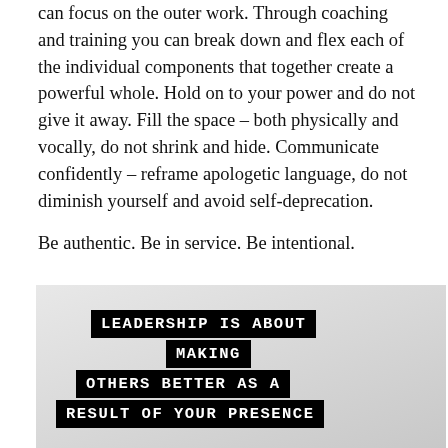can focus on the outer work. Through coaching and training you can break down and flex each of the individual components that together create a powerful whole. Hold on to your power and do not give it away. Fill the space – both physically and vocally, do not shrink and hide. Communicate confidently – reframe apologetic language, do not diminish yourself and avoid self-deprecation.
Be authentic. Be in service. Be intentional.
[Figure (illustration): Image with black banner text on a light grey background reading: LEADERSHIP IS ABOUT MAKING OTHERS BETTER AS A RESULT OF YOUR PRESENCE]